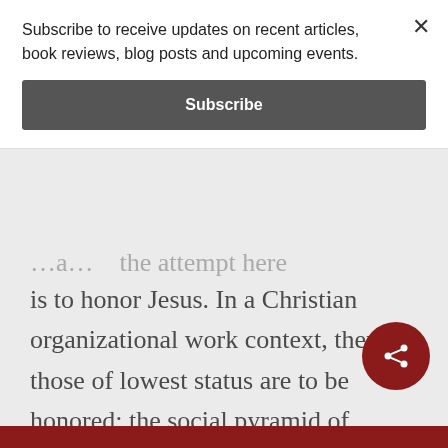Subscribe to receive updates on recent articles, book reviews, blog posts and upcoming events.
Subscribe
is to honor Jesus. In a Christian organizational work context, then, those of lowest status are to be honored; the social pyramid of conventional control is upturned. If status assesses the professional/social standing or position of a person/worker in relation to others,